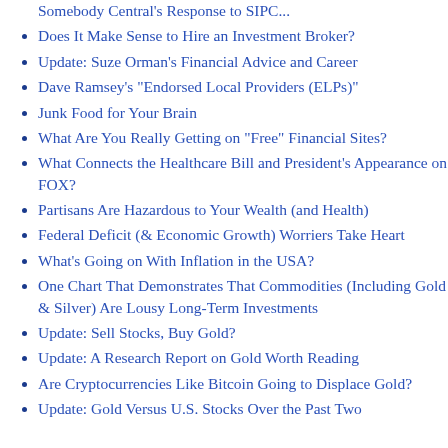Does It Make Sense to Hire an Investment Broker?
Update: Suze Orman's Financial Advice and Career
Dave Ramsey's "Endorsed Local Providers (ELPs)"
Junk Food for Your Brain
What Are You Really Getting on "Free" Financial Sites?
What Connects the Healthcare Bill and President's Appearance on FOX?
Partisans Are Hazardous to Your Wealth (and Health)
Federal Deficit (& Economic Growth) Worriers Take Heart
What's Going on With Inflation in the USA?
One Chart That Demonstrates That Commodities (Including Gold & Silver) Are Lousy Long-Term Investments
Update: Sell Stocks, Buy Gold?
Update: A Research Report on Gold Worth Reading
Are Cryptocurrencies Like Bitcoin Going to Displace Gold?
Update: Gold Versus U.S. Stocks Over the Past Two